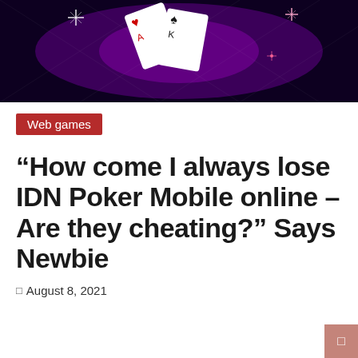[Figure (photo): Dark purple/black background with playing cards (heart and spades) fanned out, with sparkle/star light effects on a dark mystical background]
Web games
“How come I always lose IDN Poker Mobile online – Are they cheating?” Says Newbie
August 8, 2021